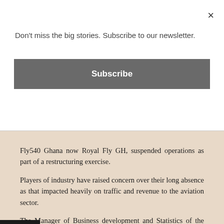Don't miss the big stories. Subscribe to our newsletter.
Subscribe
Fly540 Ghana now Royal Fly GH, suspended operations as part of a restructuring exercise.
Players of industry have raised concern over their long absence as that impacted heavily on traffic and revenue to the aviation sector.
The Manager of Business development and Statistics of the Ghana Civil Aviation Authority, Reverend Stephen Wilfred Arthur, tells Citi